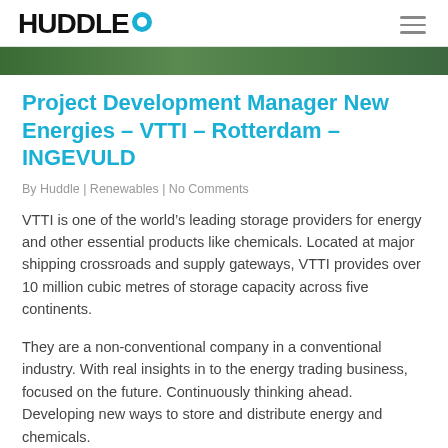HUDDLE
[Figure (photo): Green aerial/landscape image strip at top of article]
Project Development Manager New Energies – VTTI – Rotterdam – INGEVULD
By Huddle | Renewables | No Comments
VTTI is one of the world's leading storage providers for energy and other essential products like chemicals. Located at major shipping crossroads and supply gateways, VTTI provides over 10 million cubic metres of storage capacity across five continents.
They are a non-conventional company in a conventional industry. With real insights in to the energy trading business, focused on the future. Continuously thinking ahead. Developing new ways to store and distribute energy and chemicals.